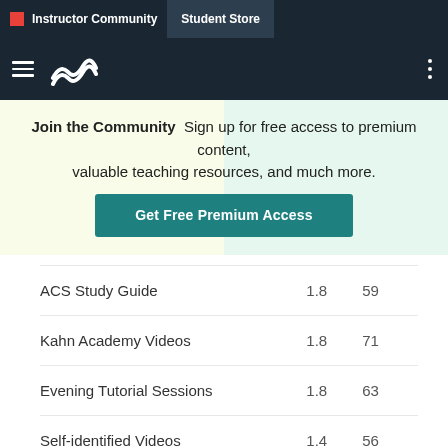Instructor Community | Student Store
[Figure (logo): Navigation bar with hamburger menu and wave logo]
Join the Community  Sign up for free access to premium content, valuable teaching resources, and much more.  Get Free Premium Access
| ACS Study Guide | 1.8 | 59 |
| Kahn Academy Videos | 1.8 | 71 |
| Evening Tutorial Sessions | 1.8 | 63 |
| Self-identified Videos | 1.4 | 56 |
| Office Hours | 1.4 | 49 |